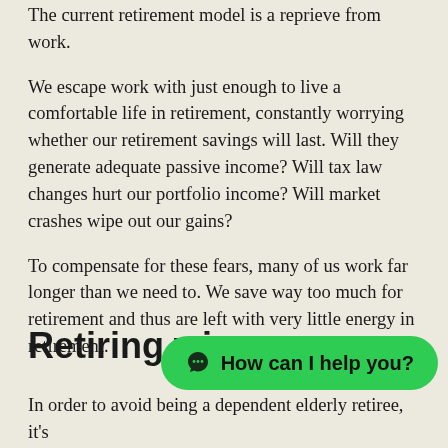The current retirement model is a reprieve from work.
We escape work with just enough to live a comfortable life in retirement, constantly worrying whether our retirement savings will last. Will they generate adequate passive income? Will tax law changes hurt our portfolio income? Will market crashes wipe out our gains?
To compensate for these fears, many of us work far longer than we need to. We save way too much for retirement and thus are left with very little energy in retirement.
Retiring wi...
In order to avoid being a dependent elderly retiree, it's